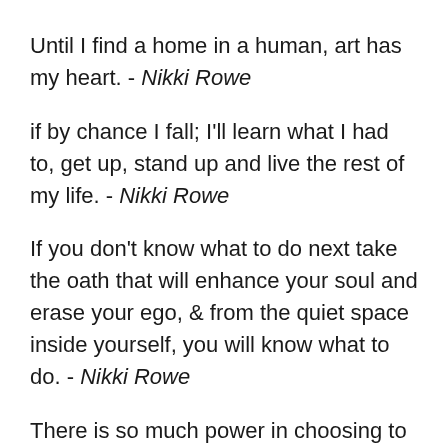Until I find a home in a human, art has my heart. - Nikki Rowe
if by chance I fall; I'll learn what I had to, get up, stand up and live the rest of my life. - Nikki Rowe
If you don't know what to do next take the oath that will enhance your soul and erase your ego, & from the quiet space inside yourself, you will know what to do. - Nikki Rowe
There is so much power in choosing to love yourself against all odds and I hope with every kind of painful experience you